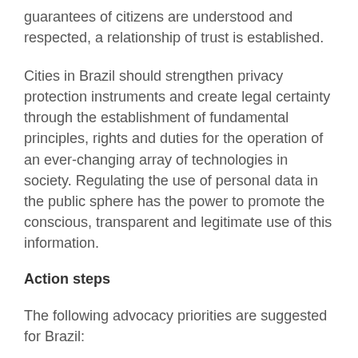guarantees of citizens are understood and respected, a relationship of trust is established.
Cities in Brazil should strengthen privacy protection instruments and create legal certainty through the establishment of fundamental principles, rights and duties for the operation of an ever-changing array of technologies in society. Regulating the use of personal data in the public sphere has the power to promote the conscious, transparent and legitimate use of this information.
Action steps
The following advocacy priorities are suggested for Brazil: